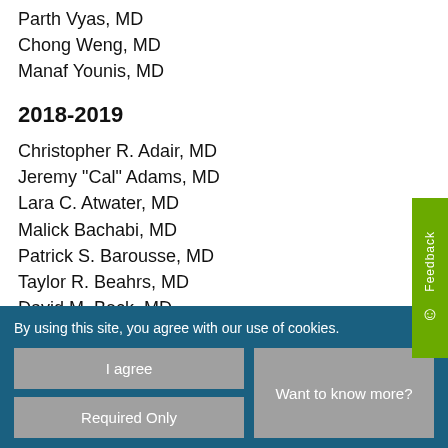Parth Vyas, MD
Chong Weng, MD
Manaf Younis, MD
2018-2019
Christopher R. Adair, MD
Jeremy "Cal" Adams, MD
Lara C. Atwater, MD
Malick Bachabi, MD
Patrick S. Barousse, MD
Taylor R. Beahrs, MD
David M. Beck, MD
Candice L. Brady, DO
Arash Calafi, MD
Nicholas Casscells, MD
By using this site, you agree with our use of cookies.
I agree | Want to know more? | Required Only